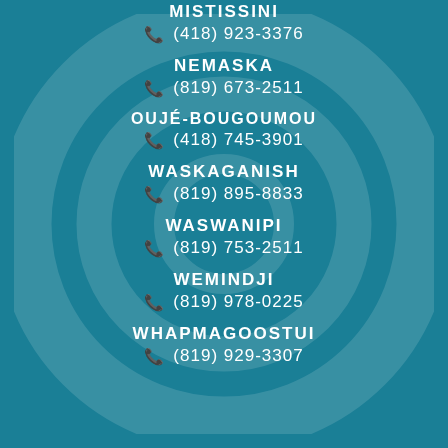MISTISSINI
(418) 923-3376
NEMASKA
(819) 673-2511
OUJÉ-BOUGOUMOU
(418) 745-3901
WASKAGANISH
(819) 895-8833
WASWANIPI
(819) 753-2511
WEMINDJI
(819) 978-0225
WHAPMAGOOSTUI
(819) 929-3307